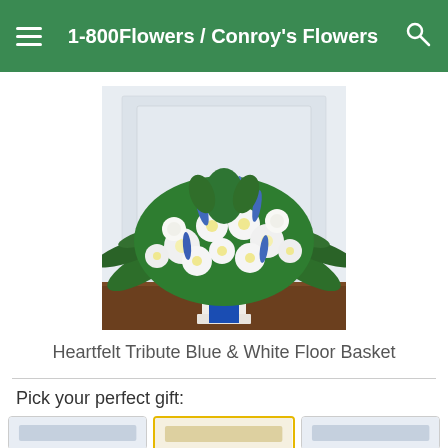1-800Flowers / Conroy's Flowers
[Figure (photo): A large floor basket arrangement of white and blue flowers including white daisies, white roses, blue delphinium, and greenery, with a large royal blue ribbon bow, placed on a white pedestal stand on a wooden floor against a white paneled wall background.]
Heartfelt Tribute Blue & White Floor Basket
Pick your perfect gift:
[Figure (photo): Three gift option card thumbnails at the bottom, partially visible. The middle one has a gold/yellow border indicating it is selected.]